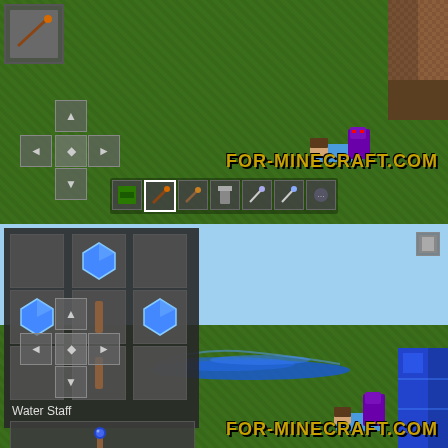[Figure (screenshot): Minecraft Pocket Edition gameplay screenshot (top). Shows green grass terrain with d-pad controls on left, a player character knocked down on the right side near a dirt block corner, a hotbar at the bottom with items, and the watermark FOR-MINECRAFT.COM. Top-left shows an inventory slot with a stick/arrow item.]
[Figure (screenshot): Minecraft Pocket Edition gameplay screenshot (bottom). Shows blue sky and green ground. Left side shows a crafting panel with 3x3 grid containing blue crystals/gems and sticks to craft a 'Water Staff', with result slot showing the water staff item. Center-right shows a blue water splash effect on the ground. Bottom-left shows d-pad controls. Bottom-right shows player character, a blue crystal block corner, and the watermark FOR-MINECRAFT.COM.]